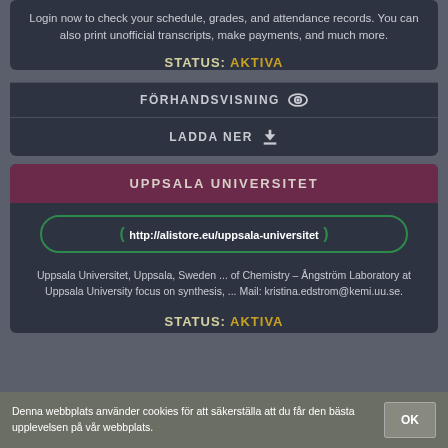Login now to check your schedule, grades, and attendance records. You can also print unofficial transcripts, make payments, and much more.
STATUS: AKTIVA
FÖRHANDSVISNING
LADDA NER
UPPSALA UNIVERSITET
http://alistore.eu/uppsala-universitet
Uppsala Universitet, Uppsala, Sweden ... of Chemistry – Ångström Laboratory at Uppsala University focus on synthesis, ... Mail: kristina.edstrom@kemi.uu.se.
STATUS: AKTIVA
Denna webbplats använder cookies för att säkerställa att du får den bästa upplevelsen på vår webbplats.